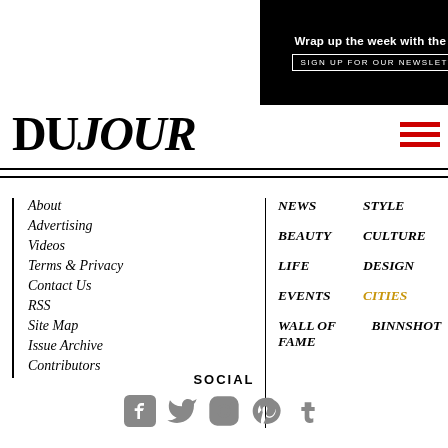[Figure (screenshot): Black advertisement banner: 'Wrap up the week with the latest in luxury' with newsletter sign-up button and social icons]
DUJOUR
About
Advertising
Videos
Terms & Privacy
Contact Us
RSS
Site Map
Issue Archive
Contributors
NEWS
BEAUTY
LIFE
EVENTS
WALL OF FAME
STYLE
CULTURE
DESIGN
CITIES
BINNSHOT
SOCIAL
[Figure (infographic): Social media icons: Facebook, Twitter, Instagram, Pinterest, Tumblr]